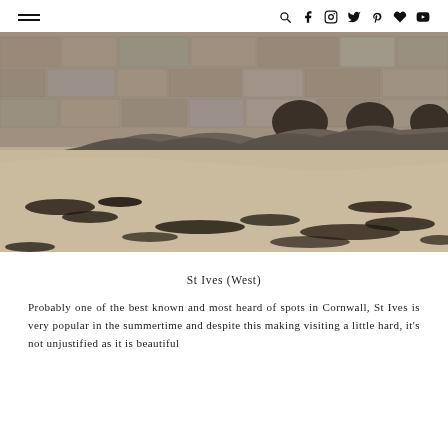navigation header with hamburger menu and social icons
[Figure (photo): A beach scene showing sandy shore with dark seaweed scattered across it and an old stone wall structure visible in the background. The image is in muted, desaturated tones.]
St Ives (West)
Probably one of the best known and most heard of spots in Cornwall, St Ives is very popular in the summertime and despite this making visiting a little hard, it's not unjustified as it is beautiful